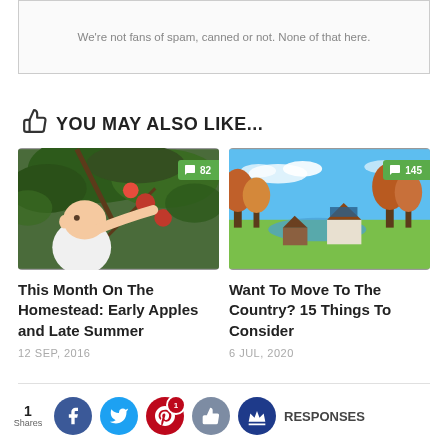We're not fans of spam, canned or not. None of that here.
YOU MAY ALSO LIKE...
[Figure (photo): Baby reaching for apples in a tree, with comment badge showing 82]
[Figure (photo): Rural countryside with farmhouses and autumn trees, with comment badge showing 145]
This Month On The Homestead: Early Apples and Late Summer
12 SEP, 2016
Want To Move To The Country? 15 Things To Consider
6 JUL, 2020
1
Shares
RESPONSES